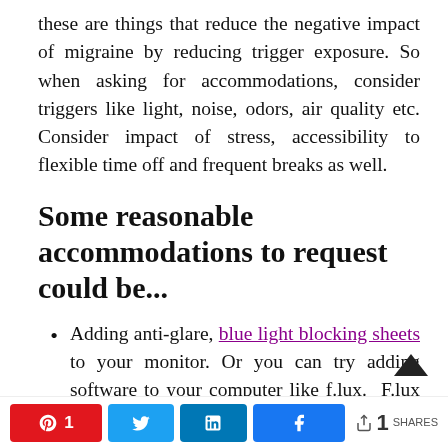these are things that reduce the negative impact of migraine by reducing trigger exposure. So when asking for accommodations, consider triggers like light, noise, odors, air quality etc. Consider impact of stress, accessibility to flexible time off and frequent breaks as well.
Some reasonable accommodations to request could be...
Adding anti-glare, blue light blocking sheets to your monitor. Or you can try adding software to your computer like f.lux.  F.lux makes the color of your computer's display automatically adapt to the time of day to reduce glaring monitors. It can also be set to the warmest colors and least